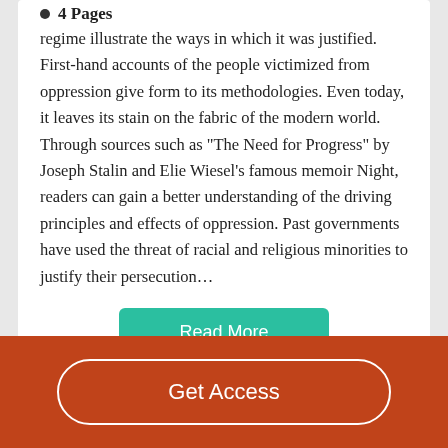4 Pages
regime illustrate the ways in which it was justified. First-hand accounts of the people victimized from oppression give form to its methodologies. Even today, it leaves its stain on the fabric of the modern world. Through sources such as “The Need for Progress” by Joseph Stalin and Elie Wiesel’s famous memoir Night, readers can gain a better understanding of the driving principles and effects of oppression. Past governments have used the threat of racial and religious minorities to justify their persecution…
Read More
Good Essays
Get Access